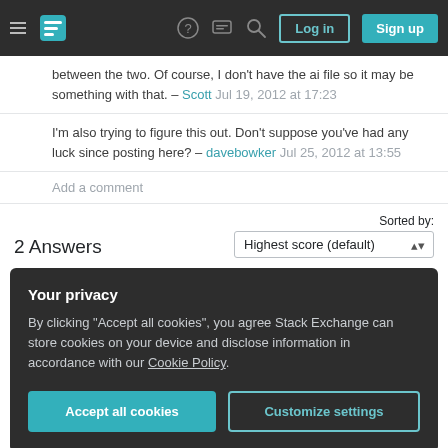Stack Exchange navigation bar with hamburger menu, logo, help, chat, search icons, Log in and Sign up buttons
between the two. Of course, I don't have the ai file so it may be something with that. – Scott Jul 19, 2012 at 17:23
I'm also trying to figure this out. Don't suppose you've had any luck since posting here? – davebowker Jul 25, 2012 at 13:55
Add a comment
2 Answers
Sorted by: Highest score (default)
Your privacy
By clicking "Accept all cookies", you agree Stack Exchange can store cookies on your device and disclose information in accordance with our Cookie Policy.
Accept all cookies   Customize settings
answered Sep 25, 2012 at 1:55